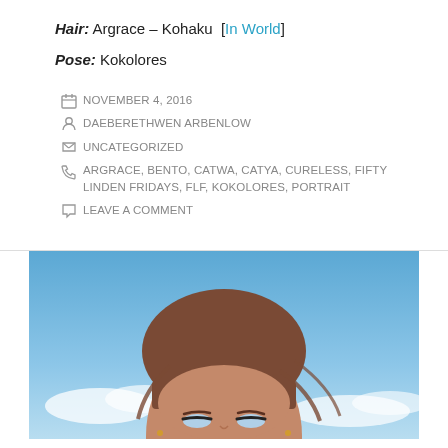Hair: Argrace – Kohaku [In World]
Pose: Kokolores
NOVEMBER 4, 2016
DAEBERETHWEN ARBENLOW
UNCATEGORIZED
ARGRACE, BENTO, CATWA, CATYA, CURELESS, FIFTY LINDEN FRIDAYS, FLF, KOKOLORES, PORTRAIT
LEAVE A COMMENT
[Figure (photo): Digital avatar portrait of a female character with brown hair and bangs against a blue sky background with clouds]